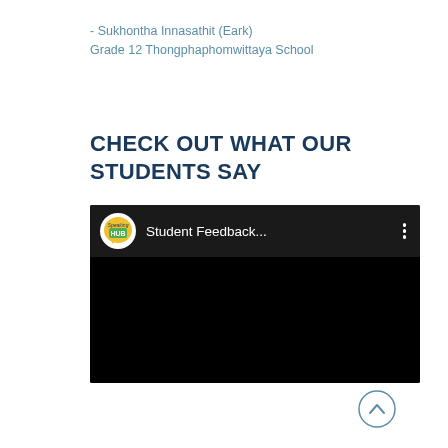- Sukhontha Innasathit (Eark)
Grade 12 Thongphaphomwittaya School
CHECK OUT WHAT OUR STUDENTS SAY
[Figure (screenshot): A YouTube-style video thumbnail showing a Speaking HUB logo and the text 'Student Feedback...' on a dark/black background with a three-dot menu icon.]
[Figure (other): A circular scroll-to-top button with an upward-pointing chevron arrow, styled with a light blue border.]